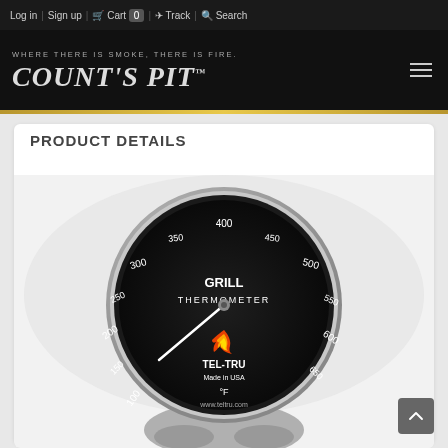Log in | Sign up | Cart 0 | Track | Search
[Figure (logo): Count's Pit logo with tagline 'WHERE THERE IS SMOKE, THERE IS FIRE.' on black background]
PRODUCT DETAILS
[Figure (photo): TEL-TRU Grill Thermometer with black dial face showing temperature range 100-650°F, with flame logo, made in USA, www.teltru.com]